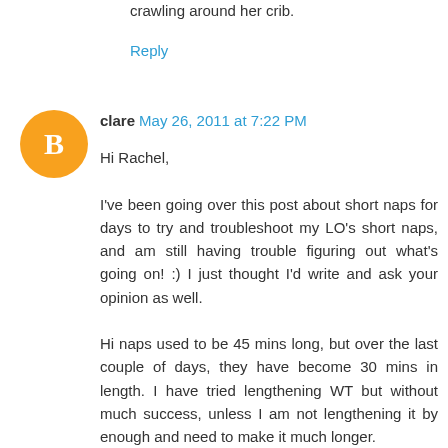crawling around her crib.
Reply
clare May 26, 2011 at 7:22 PM
Hi Rachel,

I've been going over this post about short naps for days to try and troubleshoot my LO's short naps, and am still having trouble figuring out what's going on! :) I just thought I'd write and ask your opinion as well.

Hi naps used to be 45 mins long, but over the last couple of days, they have become 30 mins in length. I have tried lengthening WT but without much success, unless I am not lengthening it by enough and need to make it much longer.

I see in my video monitor that when he wakes at 30 mins, he does initially try to go back to sleep, by rocking his head side to side, which is what he does to fall asleep at the beginning of a nap. He doesn't wake crying. Sometimes he is quiet with some gentle noises, other times he talks at